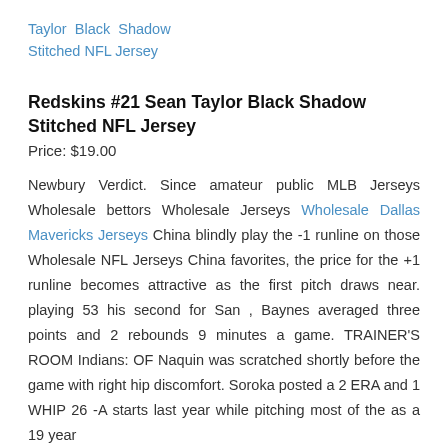Taylor  Black  Shadow
Stitched NFL Jersey
Redskins #21 Sean Taylor Black Shadow Stitched NFL Jersey
Price: $19.00
Newbury Verdict. Since amateur public MLB Jerseys Wholesale bettors Wholesale Jerseys Wholesale Dallas Mavericks Jerseys China blindly play the -1 runline on those Wholesale NFL Jerseys China favorites, the price for the +1 runline becomes attractive as the first pitch draws near. playing 53 his second for San , Baynes averaged three points and 2 rebounds 9 minutes a game. TRAINER'S ROOM Indians: OF Naquin was scratched shortly before the game with right hip discomfort. Soroka posted a 2 ERA and 1 WHIP 26 -A starts last year while pitching most of the as a 19 year